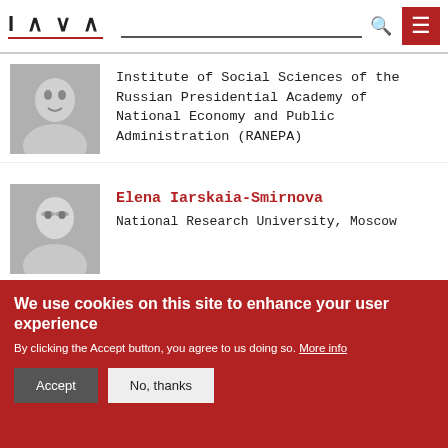IWLA [logo] [search] [menu]
Institute of Social Sciences of the Russian Presidential Academy of National Economy and Public Administration (RANEPA)
Elena Iarskaia-Smirnova
National Research University, Moscow
Ella Paneyakh
We use cookies on this site to enhance your user experience
By clicking the Accept button, you agree to us doing so. More info